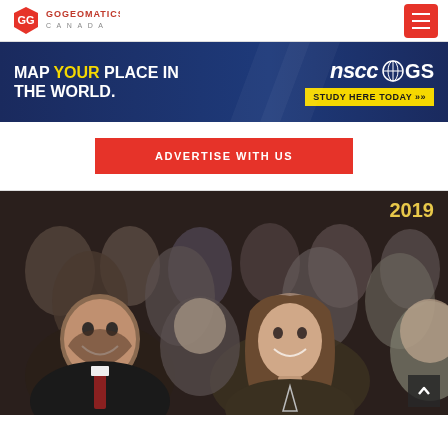GoGeomatics Canada navigation bar with logo and menu button
[Figure (infographic): NSCC COGS advertisement banner: 'MAP YOUR PLACE IN THE WORLD.' with NSCC COGS logo and 'STUDY HERE TODAY' button on dark blue background]
ADVERTISE WITH US
[Figure (photo): Audience of people smiling and laughing at a conference event, with '2019' text overlay in yellow]